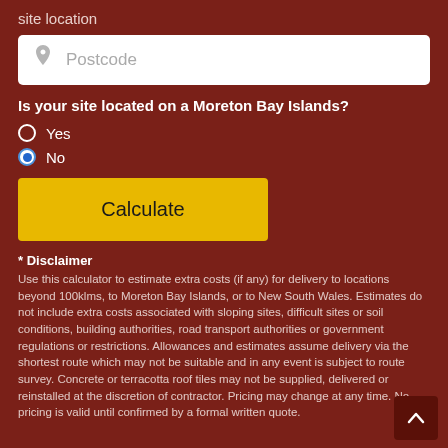site location
Postcode
Is your site located on a Moreton Bay Islands?
Yes
No
Calculate
* Disclaimer
Use this calculator to estimate extra costs (if any) for delivery to locations beyond 100klms, to Moreton Bay Islands, or to New South Wales. Estimates do not include extra costs associated with sloping sites, difficult sites or soil conditions, building authorities, road transport authorities or government regulations or restrictions. Allowances and estimates assume delivery via the shortest route which may not be suitable and in any event is subject to route survey. Concrete or terracotta roof tiles may not be supplied, delivered or reinstalled at the discretion of contractor. Pricing may change at any time. No pricing is valid until confirmed by a formal written quote.